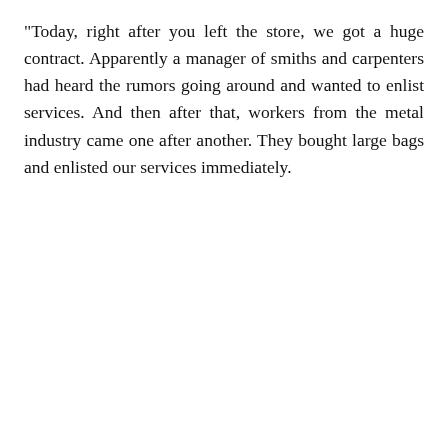"Today, right after you left the store, we got a huge contract. Apparently a manager of smiths and carpenters had heard the rumors going around and wanted to enlist services. And then after that, workers from the metal industry came one after another. They bought large bags and enlisted our services immediately.